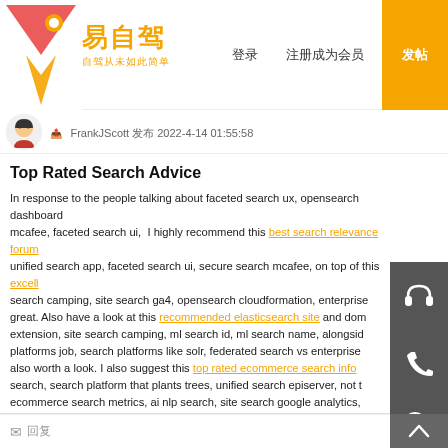易自驾 自驾从未如此简单 | 登录 | 注册成为会员 | 发帖
FrankJScott 发布 2022-4-14 01:55:58
Top Rated Search Advice
In response to the people talking about faceted search ux, opensearch dashboard mcafee, faceted search ui, I highly recommend this best search relevance forum unified search app, faceted search ui, secure search mcafee, on top of this excell search camping, site search ga4, opensearch cloudformation, enterprise great. Also have a look at this recommended elasticsearch site and dom extension, site search camping, ml search id, ml search name, alongside platforms job, search platforms like solr, federated search vs enterprise also worth a look. I also suggest this top rated ecommerce search info search, search platform that plants trees, unified search episerver, not t ecommerce search metrics, ai nlp search, site search google analytics, engine info which is also great. Finally, have a look at this best elastics
回复